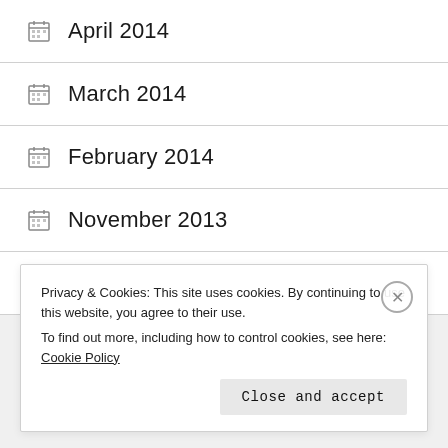April 2014
March 2014
February 2014
November 2013
July 2013
Advertisements
Privacy & Cookies: This site uses cookies. By continuing to use this website, you agree to their use.
To find out more, including how to control cookies, see here: Cookie Policy